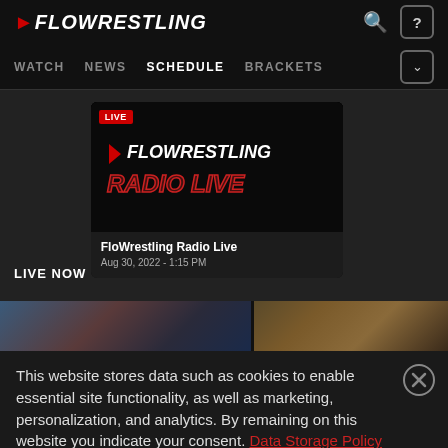FloWrestling
WATCH  NEWS  SCHEDULE  BRACKETS
LIVE NOW
[Figure (screenshot): FloWrestling Radio Live card with LIVE badge, showing FloWrestling Radio Live logo on black background]
FloWrestling Radio Live
Aug 30, 2022 - 1:15 PM
[Figure (photo): Image strip showing two photo thumbnails side by side]
This website stores data such as cookies to enable essential site functionality, as well as marketing, personalization, and analytics. By remaining on this website you indicate your consent. Data Storage Policy